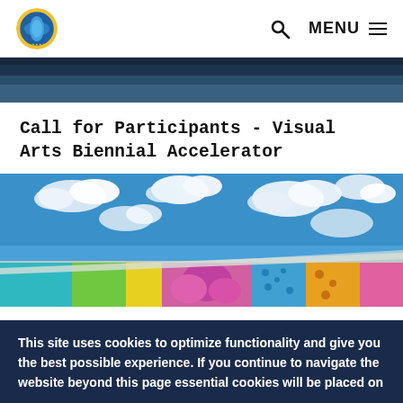Logo | Q  MENU
[Figure (photo): Dark blue coastal/ocean banner strip at top of page]
Call for Participants - Visual Arts Biennial Accelerator
[Figure (photo): Colorful mural on building exterior showing tropical flowers and patterns against a blue sky with white clouds]
This site uses cookies to optimize functionality and give you the best possible experience. If you continue to navigate the website beyond this page essential cookies will be placed on